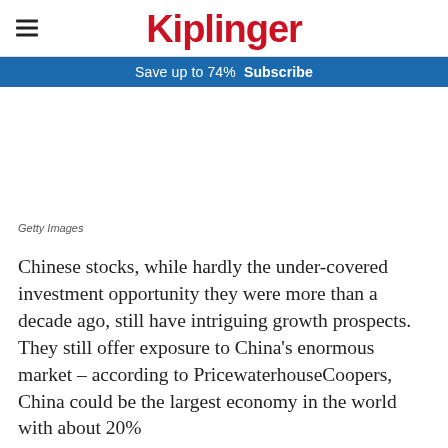Kiplinger
Save up to 74%  Subscribe
Getty Images
Chinese stocks, while hardly the under-covered investment opportunity they were more than a decade ago, still have intriguing growth prospects. They still offer exposure to China's enormous market – according to PricewaterhouseCoopers, China could be the largest economy in the world with about 20%